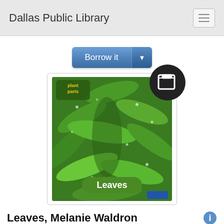Dallas Public Library
[Figure (screenshot): Borrow it button with dropdown arrow]
[Figure (photo): Book cover of 'Leaves' by Melanie Waldron — Plant Parts series, showing green leaves with water droplets, with a book badge icon overlay.]
Leaves, Melanie Waldron
Creator
Waldron, Melanie
Summary